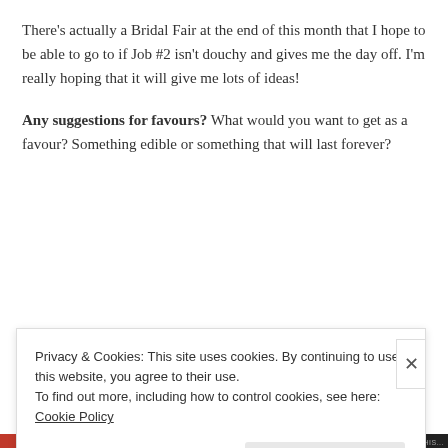There's actually a Bridal Fair at the end of this month that I hope to be able to go to if Job #2 isn't douchy and gives me the day off. I'm really hoping that it will give me lots of ideas!
Any suggestions for favours? What would you want to get as a favour? Something edible or something that will last forever?
Privacy & Cookies: This site uses cookies. By continuing to use this website, you agree to their use.
To find out more, including how to control cookies, see here: Cookie Policy
Close and accept